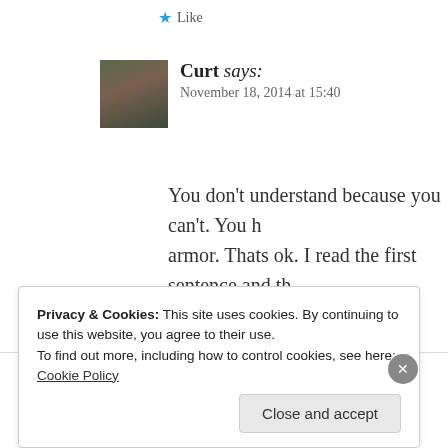★ Like
Curt says:
November 18, 2014 at 15:40
[Figure (photo): Avatar photo of a person in military attire]
You don't understand because you can't. You h armor. Thats ok. I read the first sentence and th
★ Like
Privacy & Cookies: This site uses cookies. By continuing to use this website, you agree to their use.
To find out more, including how to control cookies, see here: Cookie Policy
Close and accept